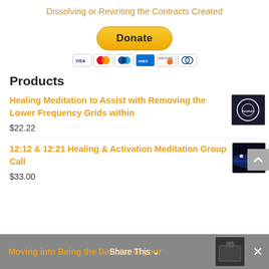Dissolving or Rewriting the Contracts Created
[Figure (other): PayPal Donate button with payment card icons (Visa, Mastercard, PayPal, Discover, Diners)]
Products
Healing Meditation to Assist with Removing the Lower Frequency Grids within
$22.22
12:12 & 12:21 Healing & Activation Meditation Group Call
$33.00
Moving into Being the Director of your
Share This